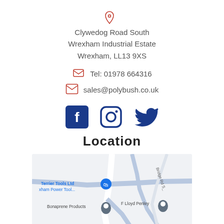Clywedog Road South
Wrexham Industrial Estate
Wrexham, LL13 9XS
Tel: 01978 664316
sales@polybush.co.uk
[Figure (infographic): Social media icons: Facebook, Instagram, Twitter in dark blue]
Location
[Figure (map): Google Maps screenshot showing area around Clywedog Road South, Wrexham Industrial Estate. Labels visible: Terrier Tools Ltd, Wrexham Power Tool..., Bonaprene Products, F Lloyd Penley, Bridge Rd S_, Cuboid Self]